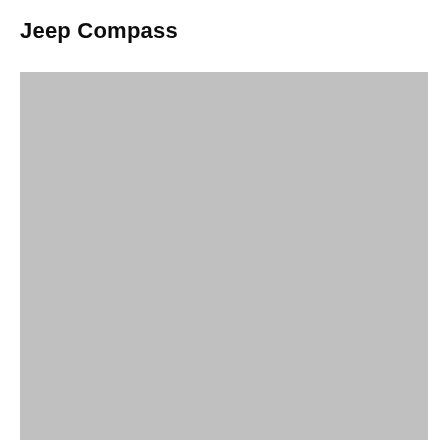Jeep Compass
[Figure (photo): A gray placeholder rectangle representing a photo of the Jeep Compass vehicle.]